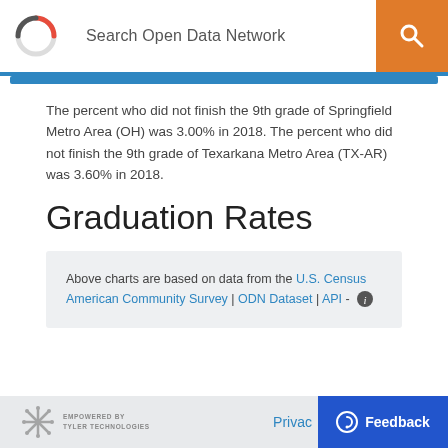Search Open Data Network
The percent who did not finish the 9th grade of Springfield Metro Area (OH) was 3.00% in 2018. The percent who did not finish the 9th grade of Texarkana Metro Area (TX-AR) was 3.60% in 2018.
Graduation Rates
Above charts are based on data from the U.S. Census American Community Survey | ODN Dataset | API -
EMPOWERED BY TYLER TECHNOLOGIES  Privacy  Feedback